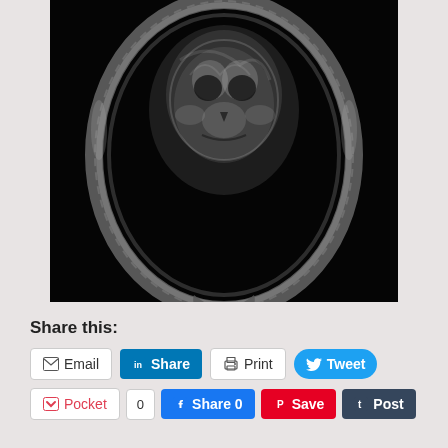[Figure (photo): A black and white photograph of an ornate vintage mirror with decorative baroque frame. The mirror's reflection shows a skull formed by smoke or mist against a dark black background.]
Share this:
Email | Share | Print | Tweet | Pocket | 0 | Share 0 | Save | Post